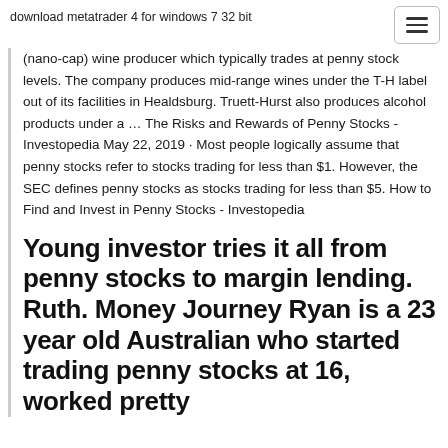download metatrader 4 for windows 7 32 bit
(nano-cap) wine producer which typically trades at penny stock levels. The company produces mid-range wines under the T-H label out of its facilities in Healdsburg. Truett-Hurst also produces alcohol products under a … The Risks and Rewards of Penny Stocks - Investopedia May 22, 2019 · Most people logically assume that penny stocks refer to stocks trading for less than $1. However, the SEC defines penny stocks as stocks trading for less than $5. How to Find and Invest in Penny Stocks - Investopedia
Young investor tries it all from penny stocks to margin lending. Ruth. Money Journey Ryan is a 23 year old Australian who started trading penny stocks at 16, worked pretty